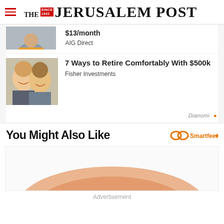THE JERUSALEM POST
[Figure (photo): Partially visible ad image (truncated at top) showing a person in winter clothing]
$13/month
AIG Direct
[Figure (photo): Smiling older couple, man and woman]
7 Ways to Retire Comfortably With $500k
Fisher Investments
Dianomi
You Might Also Like
[Figure (other): Smartfeed logo with infinity symbol in orange]
[Figure (other): Content card with partial orange graphic visible]
Advertisement